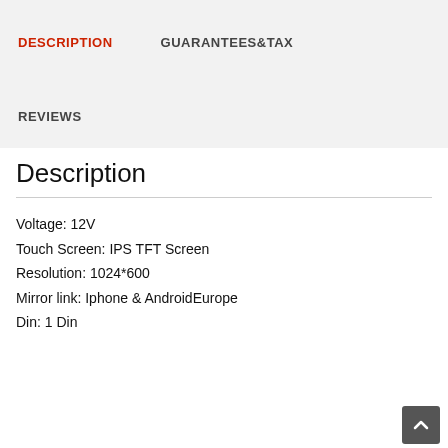DESCRIPTION
GUARANTEES&TAX
REVIEWS
Description
Voltage: 12V
Touch Screen: IPS TFT Screen
Resolution: 1024*600
Mirror link: Iphone & AndroidEurope
Din: 1 Din